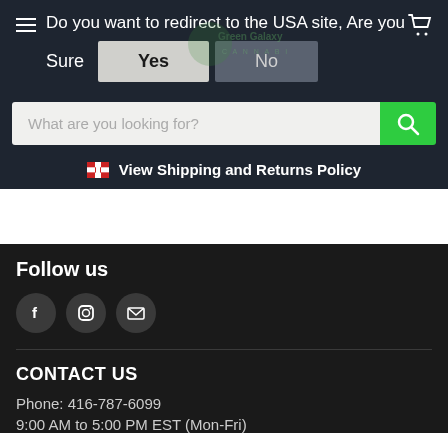Do you want to redirect to the USA site, Are you Sure  Yes  No
[Figure (screenshot): Search bar with placeholder text 'What are you looking for?' and a green search button with magnifying glass icon]
View Shipping and Returns Policy
Follow us
[Figure (infographic): Social media icons: Facebook, Instagram, Email in dark circles]
CONTACT US
Phone: 416-787-6099
9:00 AM to 5:00 PM EST (Mon-Fri)